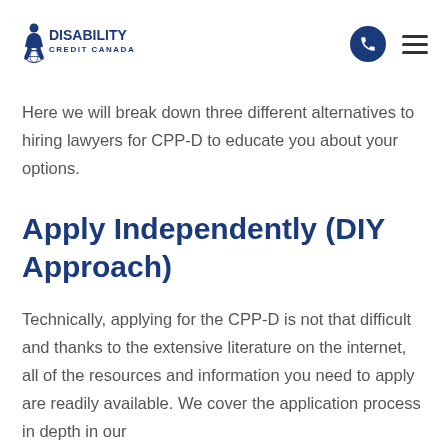Disability Credit Canada
Here we will break down three different alternatives to hiring lawyers for CPP-D to educate you about your options.
Apply Independently (DIY Approach)
Technically, applying for the CPP-D is not that difficult and thanks to the extensive literature on the internet, all of the resources and information you need to apply are readily available. We cover the application process in depth in our